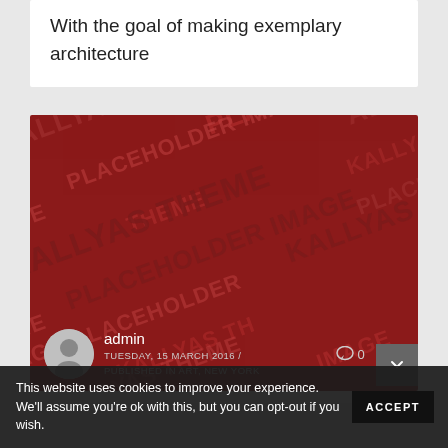With the goal of making exemplary architecture
[Figure (photo): Red KALLYAS placeholder image with watermark text repeating 'KALLYAS THEME PLACEHOLDER IMAGE' and an author overlay showing admin, Tuesday 15 March 2016, Published in ART, NEW YORK, with comment and like counts of 0]
This website uses cookies to improve your experience. We'll assume you're ok with this, but you can opt-out if you wish. ACCEPT